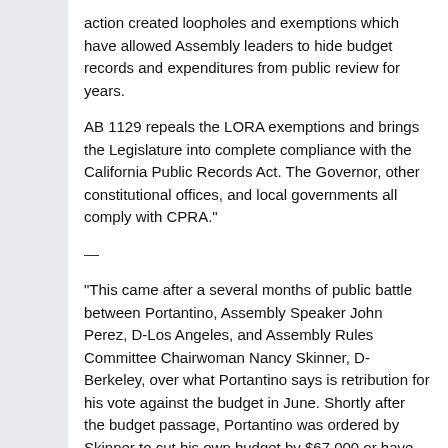action created loopholes and exemptions which have allowed Assembly leaders to hide budget records and expenditures from public review for years.
AB 1129 repeals the LORA exemptions and brings the Legislature into complete compliance with the California Public Records Act. The Governor, other constitutional offices, and local governments all comply with CPRA."
—
“This came after a several months of public battle between Portantino, Assembly Speaker John Perez, D-Los Angeles, and Assembly Rules Committee Chairwoman Nancy Skinner, D-Berkeley, over what Portantino says is retribution for his vote against the budget in June. Shortly after the budget passage, Portantino was ordered by Skinner to cut his own budget by $67,000 or have his office staff furloughed.”
—
So where are the Dems when it comes to transparency for their own offices?